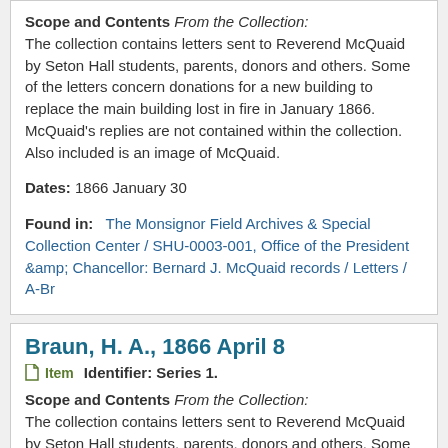Scope and Contents From the Collection: The collection contains letters sent to Reverend McQuaid by Seton Hall students, parents, donors and others. Some of the letters concern donations for a new building to replace the main building lost in fire in January 1866. McQuaid's replies are not contained within the collection. Also included is an image of McQuaid.
Dates: 1866 January 30
Found in: The Monsignor Field Archives & Special Collection Center / SHU-0003-001, Office of the President &amp; Chancellor: Bernard J. McQuaid records / Letters / A-Br
Braun, H. A., 1866 April 8
Item  Identifier: Series 1.
Scope and Contents From the Collection: The collection contains letters sent to Reverend McQuaid by Seton Hall students, parents, donors and others. Some of the letters concern donations for a